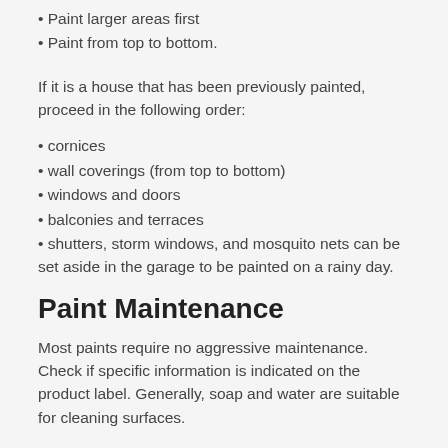• Paint larger areas first
• Paint from top to bottom.
If it is a house that has been previously painted, proceed in the following order:
• cornices
• wall coverings (from top to bottom)
• windows and doors
• balconies and terraces
• shutters, storm windows, and mosquito nets can be set aside in the garage to be painted on a rainy day.
Paint Maintenance
Most paints require no aggressive maintenance. Check if specific information is indicated on the product label. Generally, soap and water are suitable for cleaning surfaces.